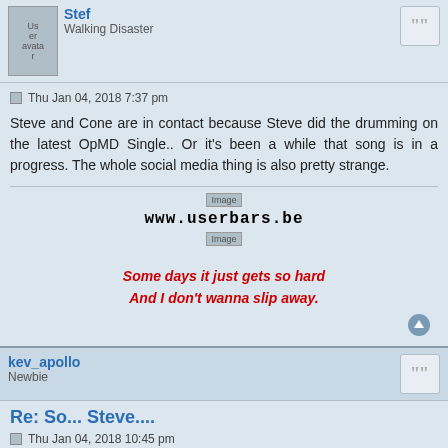Stef
Walking Disaster
Thu Jan 04, 2018 7:37 pm
Steve and Cone are in contact because Steve did the drumming on the latest OpMD Single.. Or it's been a while that song is in a progress. The whole social media thing is also pretty strange.
[Figure (other): Image placeholder]
www.userbars.be
[Figure (other): Image placeholder]
Some days it just gets so hard
And I don't wanna slip away.
kev_apollo
Newbie
Re: So... Steve....
Thu Jan 04, 2018 10:45 pm